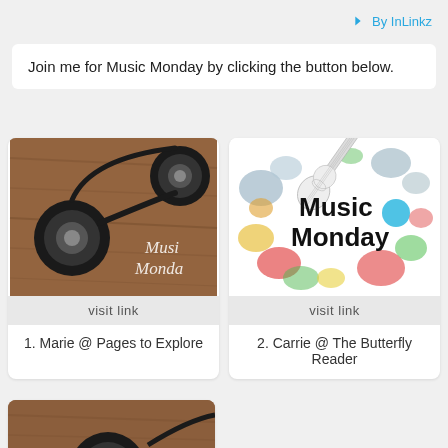By InLinkz
Join me for Music Monday by clicking the button below.
[Figure (photo): Photo of black earbuds/headphones on a wooden surface with 'Music Monday' text overlay]
visit link
1. Marie @ Pages to Explore
[Figure (illustration): Music Monday graphic with colorful paint splashes and guitar illustration on white background]
visit link
2. Carrie @ The Butterfly Reader
[Figure (photo): Partial photo of headphones on a wooden surface (third card, partially visible)]